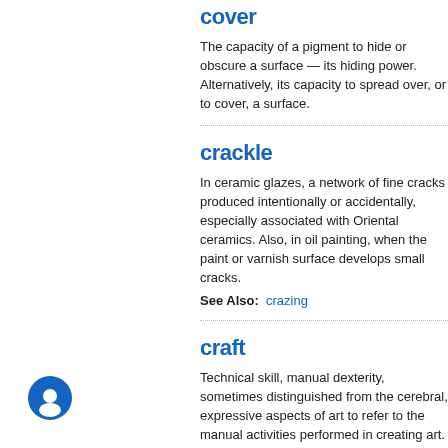cover
The capacity of a pigment to hide or obscure a surface — its hiding power. Alternatively, its capacity to spread over, or to cover, a surface.
crackle
In ceramic glazes, a network of fine cracks produced intentionally or accidentally, especially associated with Oriental ceramics. Also, in oil painting, when the paint or varnish surface develops small cracks.
See Also: crazing
craft
Technical skill, manual dexterity, sometimes distinguished from the cerebral, expressive, or design aspects of art to refer to the manual activities performed in creating art. Also, craft is distinguished from the specialized knowledge and skills employed by artists in the making of fine art, with the distinction often resulting from differentiation